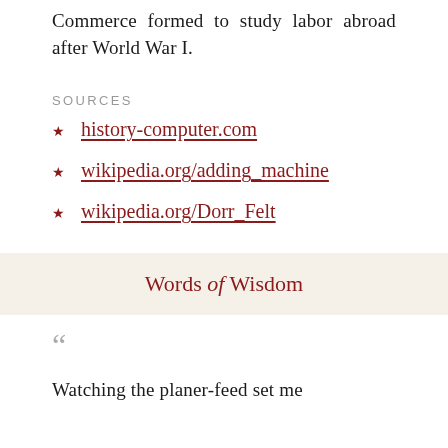Commerce formed to study labor abroad after World War I.
SOURCES
history-computer.com
wikipedia.org/adding_machine
wikipedia.org/Dorr_Felt
Words of Wisdom
Watching the planer-feed set me